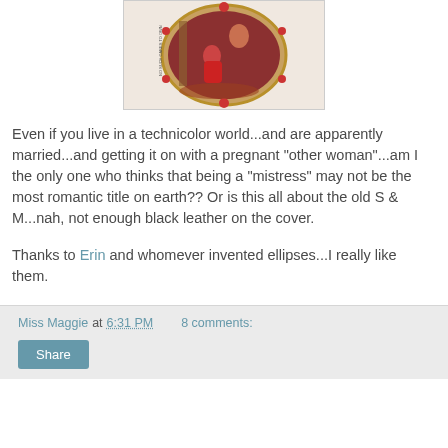[Figure (illustration): Book cover image showing a romantic couple in an oval frame with decorative border, woman in red dress, set in a luxurious interior]
Even if you live in a technicolor world...and are apparently married...and getting it on with a pregnant "other woman"...am I the only one who thinks that being a "mistress" may not be the most romantic title on earth?? Or is this all about the old S & M...nah, not enough black leather on the cover.
Thanks to Erin and whomever invented ellipses...I really like them.
Miss Maggie at 6:31 PM   8 comments:   Share